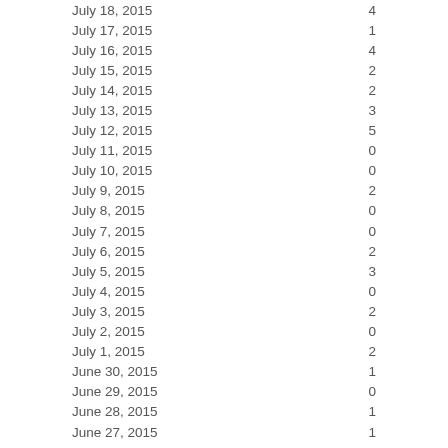| Date | Value |
| --- | --- |
| July 18, 2015 | 4 |
| July 17, 2015 | 1 |
| July 16, 2015 | 4 |
| July 15, 2015 | 2 |
| July 14, 2015 | 2 |
| July 13, 2015 | 3 |
| July 12, 2015 | 5 |
| July 11, 2015 | 0 |
| July 10, 2015 | 0 |
| July 9, 2015 | 2 |
| July 8, 2015 | 0 |
| July 7, 2015 | 0 |
| July 6, 2015 | 2 |
| July 5, 2015 | 3 |
| July 4, 2015 | 0 |
| July 3, 2015 | 2 |
| July 2, 2015 | 0 |
| July 1, 2015 | 2 |
| June 30, 2015 | 1 |
| June 29, 2015 | 0 |
| June 28, 2015 | 1 |
| June 27, 2015 | 1 |
| June 26, 2015 | 3 |